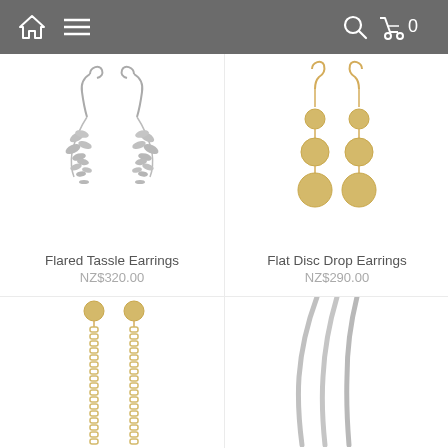Home | Menu | Search | Cart 0
[Figure (photo): Flared Tassle Earrings - silver leaf-shaped drop earrings with hook wires]
Flared Tassle Earrings
NZ$320.00
[Figure (photo): Flat Disc Drop Earrings - gold hook earrings with three graduated disc drops]
Flat Disc Drop Earrings
NZ$290.00
[Figure (photo): Gold chain drop earrings with small disc top, partial view]
[Figure (photo): Silver elongated drop earrings, partial view]